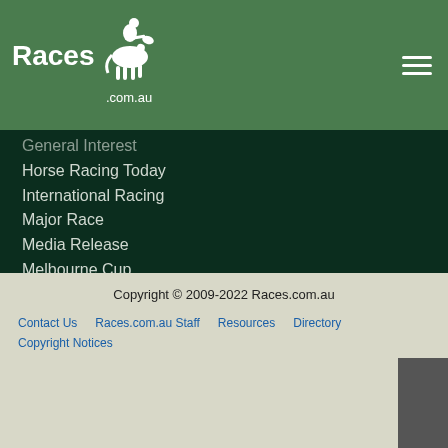[Figure (logo): Races.com.au logo with horse jockey silhouette on green header bar]
General Interest
Horse Racing Today
International Racing
Major Race
Media Release
Melbourne Cup
News
Race Previews
Race Results
Spring Racing
Summer Racing
Winter Racing
Copyright © 2009-2022 Races.com.au
Contact Us   Races.com.au Staff   Resources   Directory
Copyright Notices